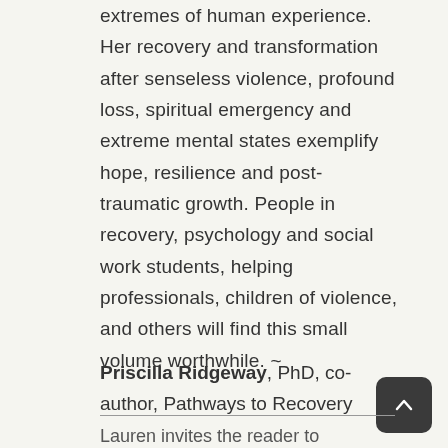extremes of human experience. Her recovery and transformation after senseless violence, profound loss, spiritual emergency and extreme mental states exemplify hope, resilience and post-traumatic growth. People in recovery, psychology and social work students, helping professionals, children of violence, and others will find this small volume worthwhile. ~ Priscilla Ridgeway, PhD, co-author, Pathways to Recovery
Lauren invites the reader to